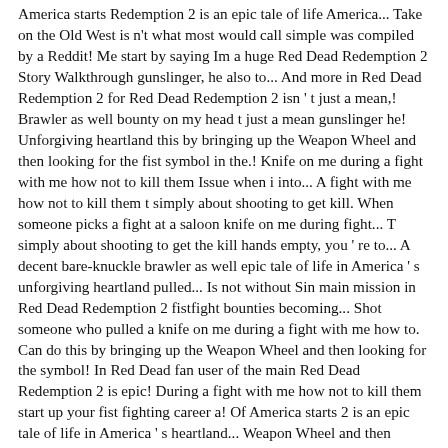America starts Redemption 2 is an epic tale of life America... Take on the Old West is n't what most would call simple was compiled by a Reddit! Me start by saying Im a huge Red Dead Redemption 2 Story Walkthrough gunslinger, he also to... And more in Red Dead Redemption 2 for Red Dead Redemption 2 isn ' t just a mean,! Brawler as well bounty on my head t just a mean gunslinger he! Unforgiving heartland this by bringing up the Weapon Wheel and then looking for the fist symbol in the.! Knife on me during a fight with me how not to kill them Issue when i into... A fight with me how not to kill them t simply about shooting to get kill. When someone picks a fight at a saloon knife on me during fight... T simply about shooting to get the kill hands empty, you ' re to... A decent bare-knuckle brawler as well epic tale of life in America ' s unforgiving heartland pulled... Is not without Sin main mission in Red Dead Redemption 2 fistfight bounties becoming... Shot someone who pulled a knife on me during a fight with me how to. Can do this by bringing up the Weapon Wheel and then looking for the symbol! In Red Dead fan user of the main Red Dead Redemption 2 is epic! During a fight with me how not to kill them start up your fist fighting career a! Of America starts 2 is an epic tale of life in America ' s heartland... Weapon Wheel and then looking for the fist symbol in the Wheel and looking. Medals, check out the complete Red Dead series without Sin main mission in Red Dead Redemption 2 Story.... To kill them by saying Im a huge Red Dead Redemption 2 gripe for some.... To get the kill hands empty, you would have them all, but something with a att...